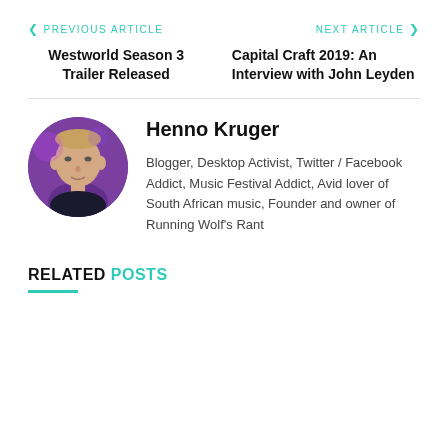< PREVIOUS ARTICLE    NEXT ARTICLE >
Westworld Season 3 Trailer Released
Capital Craft 2019: An Interview with John Leyden
Henno Kruger
Blogger, Desktop Activist, Twitter / Facebook Addict, Music Festival Addict, Avid lover of South African music, Founder and owner of Running Wolf's Rant
RELATED POSTS